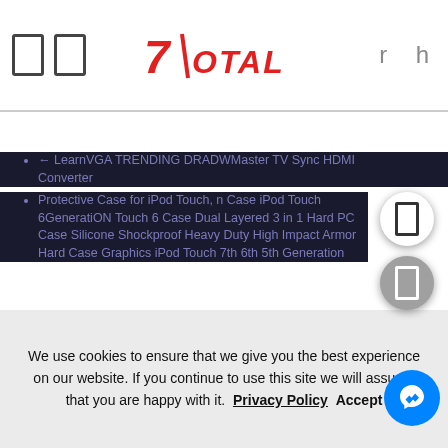7Total
← LearnVGA TRENDING DRADWMaster TV Sync HDMI Converter
Protective Case for iPod Touch, n Case iPod Touch 6GeneratiON Touch 6 Case Dual Layered 3 in 1 Hard PC Case Silicone Shockproof Heavy Duty High Impact Armor Hard Case Graphics iPod Touch 7th 6th 5th Generation
Mini DisplayPort Male to VGA Male Cable by Thunderbolt Compatible Gold Plated MacBook Air & PCs with Mini DisplayPort Adapter lead for Apple iMac MacBook Pro Cableson 2m/6ft Mac Mini
4 Pcs Clear Vinyl Tarpaulin Cover by Xpose Safety You Clear Vinyl 84 All-Season Heavy Duty Transparent Waterproof PVC Tarps with Rust-Resistant Grommets Multiple Sizes
We use cookies to ensure that we give you the best experience on our website. If you continue to use this site we will assume that you are happy with it.
Privacy Policy   Accept